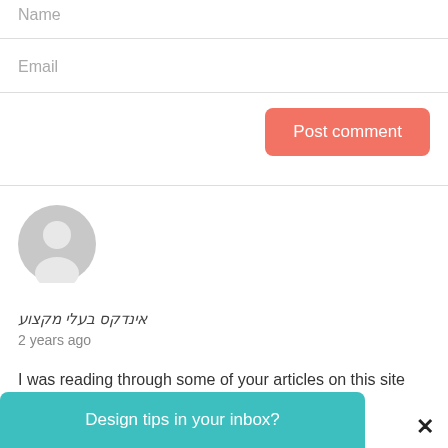Name
Email
Post comment
[Figure (illustration): Gray circular user avatar/profile icon placeholder]
אינדקס בעלי מקצוע
2 years ago
I was reading through some of your articles on this site
Design tips in your inbox?
×